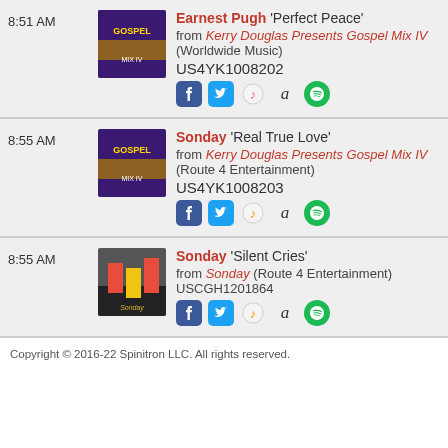8:51 AM — Earnest Pugh 'Perfect Peace' from Kerry Douglas Presents Gospel Mix IV (Worldwide Music) US4YK1008202
8:55 AM — Sonday 'Real True Love' from Kerry Douglas Presents Gospel Mix IV (Route 4 Entertainment) US4YK1008203
8:55 AM — Sonday 'Silent Cries' from Sonday (Route 4 Entertainment) USCGH1201864
Copyright © 2016-22 Spinitron LLC. All rights reserved.